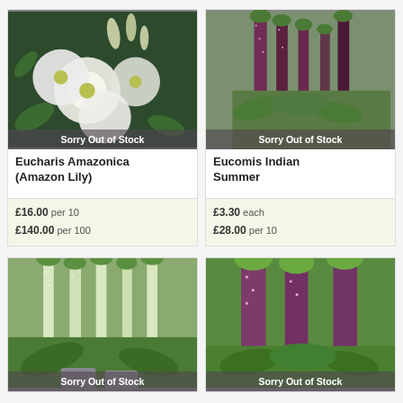[Figure (photo): Eucharis Amazonica white flowers with green leaves, with 'Sorry Out of Stock' overlay]
Eucharis Amazonica (Amazon Lily)
£16.00 per 10
£140.00 per 100
[Figure (photo): Eucomis Indian Summer tall spiky flower spikes in purple/maroon with green leaves, with 'Sorry Out of Stock' overlay]
Eucomis Indian Summer
£3.30 each
£28.00 per 10
[Figure (photo): Eucomis white flower spikes with green leaves, 'Sorry Out of Stock' overlay, partial view]
[Figure (photo): Eucomis Pink Giant tall purple-pink flower spikes with green background, 'Sorry Out of Stock' overlay, partial view]